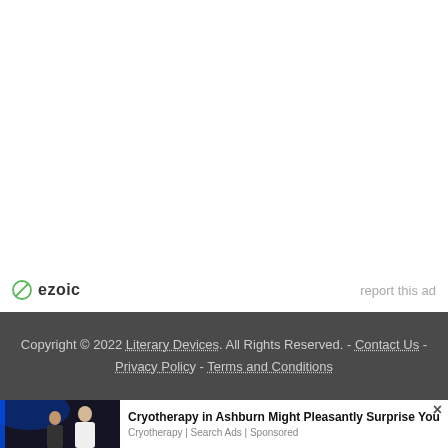[Figure (other): Ezoic ad platform logo with circular slash icon and 'ezoic' text, alongside 'report this ad' link]
Copyright © 2022 Literary Devices. All Rights Reserved. - Contact Us - Privacy Policy - Terms and Conditions
[Figure (photo): Advertisement banner: photo of cryotherapy chamber with blue lighting and person inside, with text 'Cryotherapy in Ashburn Might Pleasantly Surprise You' and 'Cryotherapy | Search Ads | Sponsored']